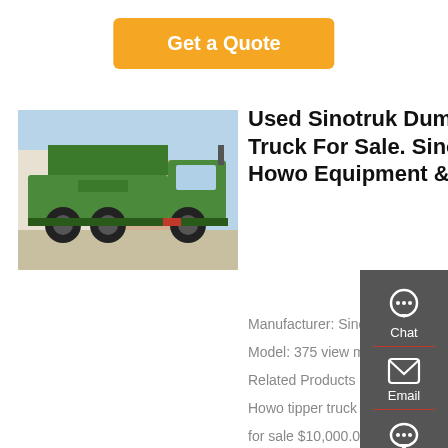[Figure (other): Orange 'Get a Quote' button at top center]
[Figure (photo): Green Sinotruk Howo dump truck parked outdoors]
Used Sinotruk Dump Truck For Sale. Sinotruk - Howo Equipment & ...
Manufacturer: Sinotruk - Howo
Model: 375 view more >>
Related Products Cheap Used dump truck Howo tipper truck 6x4 375HP 380HP tractors for sale $10,000.00 - $50,000.00 Unit 1.0 Units Used Howo 375 dump truck 6x4 375HP Si...